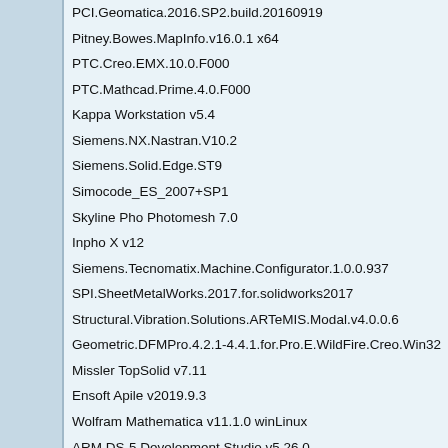PCI.Geomatica.2016.SP2.build.20160919
Pitney.Bowes.MapInfo.v16.0.1 x64
PTC.Creo.EMX.10.0.F000
PTC.Mathcad.Prime.4.0.F000
Kappa Workstation v5.4
Siemens.NX.Nastran.V10.2
Siemens.Solid.Edge.ST9
Simocode_ES_2007+SP1
Skyline Pho Photomesh 7.0
Inpho X v12
Siemens.Tecnomatix.Machine.Configurator.1.0.0.937
SPI.SheetMetalWorks.2017.for.solidworks2017
Structural.Vibration.Solutions.ARTeMIS.Modal.v4.0.0.6
Geometric.DFMPro.4.2.1-4.4.1.for.Pro.E.WildFire.Creo.Win32
Missler TopSolid v7.11
Ensoft Apile v2019.9.3
Wolfram Mathematica v11.1.0 winLinux
ARM DS-5 Development Studio v5.26.0
PTC.Creo.EMX.10.0.F000
PTC.Mathcad.Prime.4.0.F000.Win32_64
Thunderhead.Engineering.Pathfinder.v2017.2.0301.Win32_64
Thunderhead.Engineering.PetraSim.v2017.1.0209.Win32_64
Thunderhead.Engineering.PyroSim.v2017.1.0209.Win64
CIMCO Edit 8.00.42
Geometric.Startup.2.0.0.14918.Win64